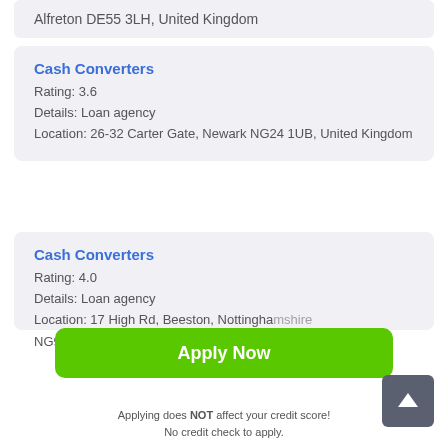Alfreton DE55 3LH, United Kingdom
Cash Converters
Rating: 3.6
Details: Loan agency
Location: 26-32 Carter Gate, Newark NG24 1UB, United Kingdom
Cash Converters
Rating: 4.0
Details: Loan agency
Location: 17 High Rd, Beeston, Nottinghamshire NG9 2JL, United Kingdom
Apply Now
Applying does NOT affect your credit score! No credit check to apply.